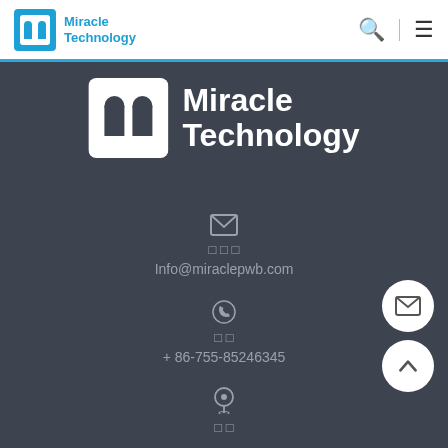Miracle Technology
[Figure (logo): Miracle Technology logo with icon and company name on dark background]
Info@miraclepwb.com
+ 86-755-85246345